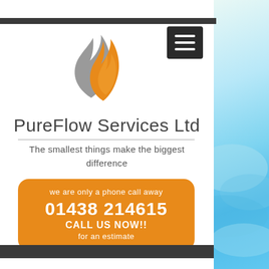[Figure (logo): PureFlow Services Ltd logo: grey and orange flame/water drop shapes]
PureFlow Services Ltd
The smallest things make the biggest difference
we are only a phone call away
01438 214615
CALL US NOW!!
for an estimate